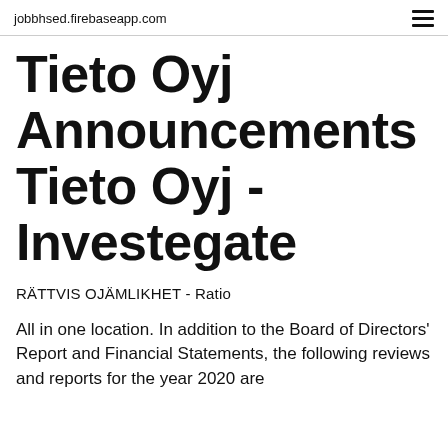jobbhsed.firebaseapp.com
Tieto Oyj Announcements Tieto Oyj - Investegate
RÄTTVIS OJÄMLIKHET - Ratio
All in one location. In addition to the Board of Directors' Report and Financial Statements, the following reviews and reports for the year 2020 are